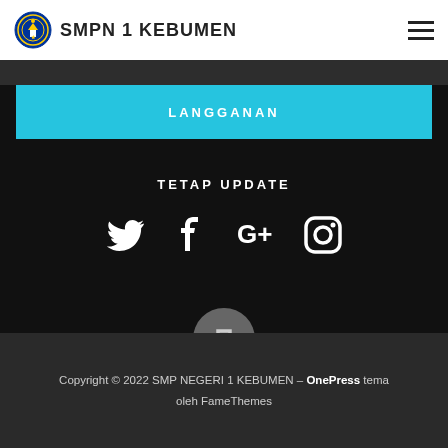SMPN 1 KEBUMEN
[Figure (screenshot): LANGGANAN subscription button in cyan/light blue color]
TETAP UPDATE
[Figure (infographic): Social media icons: Twitter, Facebook, Google+, Instagram in white on dark background]
[Figure (other): Back to top arrow button - circular grey button with bracket/arrow icon]
Copyright © 2022 SMP NEGERI 1 KEBUMEN – OnePress tema oleh FameThemes